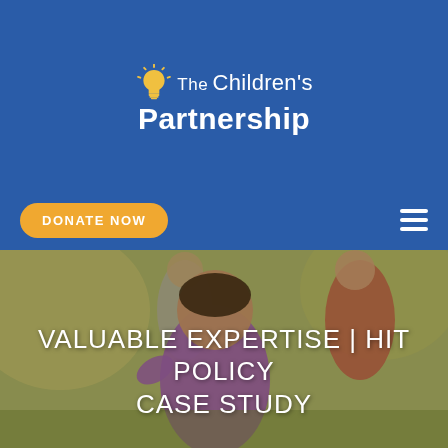[Figure (logo): The Children's Partnership logo with lightbulb icon and text on blue background]
[Figure (other): DONATE NOW button (yellow rounded) and hamburger menu icon (white) on blue nav bar]
[Figure (photo): Photo of a smiling young Asian girl in purple shirt running outdoors with adult figures in background, overlaid with text VALUABLE EXPERTISE | HIT POLICY CASE STUDY]
VALUABLE EXPERTISE | HIT POLICY CASE STUDY